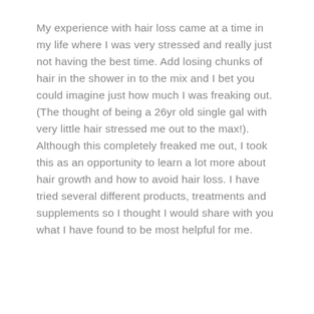My experience with hair loss came at a time in my life where I was very stressed and really just not having the best time. Add losing chunks of hair in the shower in to the mix and I bet you could imagine just how much I was freaking out. (The thought of being a 26yr old single gal with very little hair stressed me out to the max!). Although this completely freaked me out, I took this as an opportunity to learn a lot more about hair growth and how to avoid hair loss. I have tried several different products, treatments and supplements so I thought I would share with you what I have found to be most helpful for me.